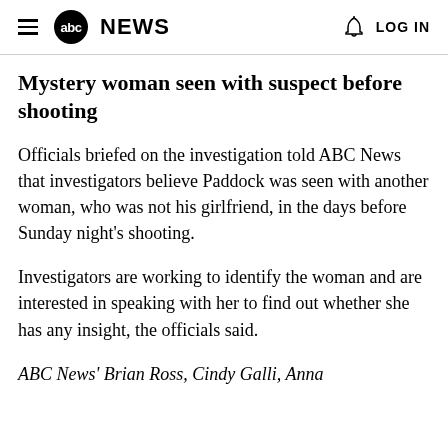≡ abcNEWS  🔔 LOG IN
Mystery woman seen with suspect before shooting
Officials briefed on the investigation told ABC News that investigators believe Paddock was seen with another woman, who was not his girlfriend, in the days before Sunday night's shooting.
Investigators are working to identify the woman and are interested in speaking with her to find out whether she has any insight, the officials said.
ABC News' Brian Ross, Cindy Galli, Anna